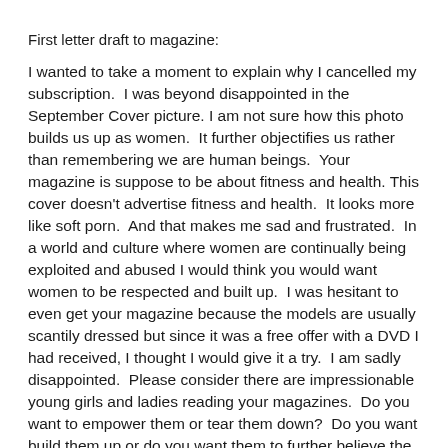First letter draft to magazine:
I wanted to take a moment to explain why I cancelled my subscription.  I was beyond disappointed in the September Cover picture. I am not sure how this photo builds us up as women.  It further objectifies us rather than remembering we are human beings.  Your magazine is suppose to be about fitness and health. This cover doesn't advertise fitness and health.  It looks more like soft porn.  And that makes me sad and frustrated.  In a world and culture where women are continually being exploited and abused I would think you would want women to be respected and built up.  I was hesitant to even get your magazine because the models are usually scantily dressed but since it was a free offer with a DVD I had received, I thought I would give it a try.  I am sadly disappointed.  Please consider there are impressionable young girls and ladies reading your magazines.  Do you want to empower them or tear them down?  Do you want build them up or do you want them to further believe the cultures lies that they are an object to be ogled at by men and